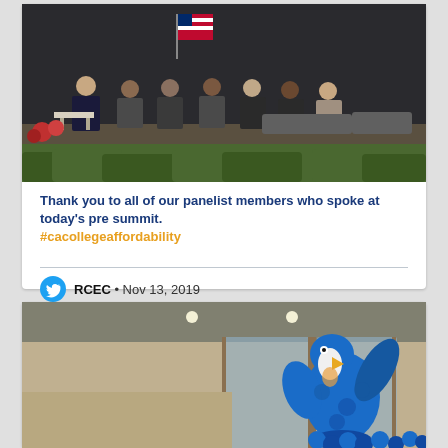[Figure (photo): Panel of speakers seated on stage at a summit event, with an American flag in the background and green plants at the front of the stage.]
Thank you to all of our panelist members who spoke at today's pre summit. #cacollegeaffordability
RCEC • Nov 13, 2019
[Figure (photo): Lobby entrance with blue balloon sculpture shaped like a bird or character, and glass doors visible in the background.]